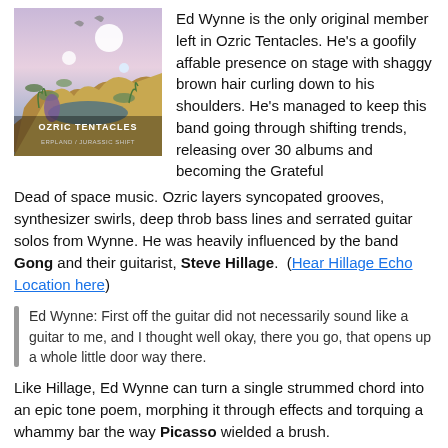[Figure (photo): Album cover for Ozric Tentacles showing fantastical landscape with fish, rock formations, moons, and birds with text 'OZRIC TENTACLES' and subtitle text]
Ed Wynne is the only original member left in Ozric Tentacles. He's a goofily affable presence on stage with shaggy brown hair curling down to his shoulders. He's managed to keep this band going through shifting trends, releasing over 30 albums and becoming the Grateful Dead of space music. Ozric layers syncopated grooves, synthesizer swirls, deep throb bass lines and serrated guitar solos from Wynne. He was heavily influenced by the band Gong and their guitarist, Steve Hillage.  (Hear Hillage Echo Location here)
Ed Wynne: First off the guitar did not necessarily sound like a guitar to me, and I thought well okay, there you go, that opens up a whole little door way there.
Like Hillage, Ed Wynne can turn a single strummed chord into an epic tone poem, morphing it through effects and torquing a whammy bar the way Picasso wielded a brush.